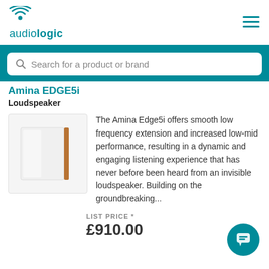audiologic
Search for a product or brand
Amina EDGE5i
Loudspeaker
[Figure (photo): Product photo of the Amina Edge5i loudspeaker — a flat white panel speaker with a thin brown/copper strip on the right edge, shown against a light background.]
The Amina Edge5i offers smooth low frequency extension and increased low-mid performance, resulting in a dynamic and engaging listening experience that has never before been heard from an invisible loudspeaker. Building on the groundbreaking...
LIST PRICE *
£910.00